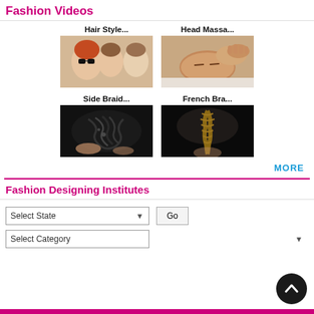Fashion Videos
[Figure (photo): Hair Style thumbnail showing three children]
[Figure (photo): Head Massa... thumbnail showing head massage]
[Figure (photo): Side Braid... thumbnail showing dark braided hair]
[Figure (photo): French Bra... thumbnail showing french braid]
MORE
Fashion Designing Institutes
Select State
Select Category
Go